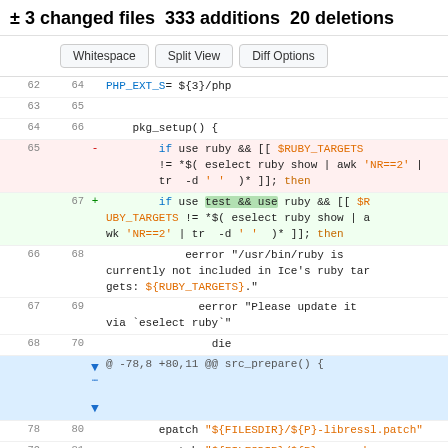± 3 changed files 333 additions 20 deletions
Whitespace | Split View | Diff Options
[Figure (screenshot): Code diff view showing lines 62-70 and 78-81, with deletions highlighted in pink and additions highlighted in green. Hunk header shows @ -78,8 +80,11 @@ src_prepare() {]